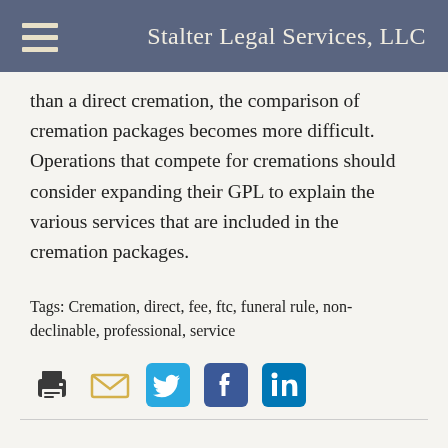Stalter Legal Services, LLC
than a direct cremation, the comparison of cremation packages becomes more difficult. Operations that compete for cremations should consider expanding their GPL to explain the various services that are included in the cremation packages.
Tags: Cremation, direct, fee, ftc, funeral rule, non-declinable, professional, service
[Figure (infographic): Social sharing icons: print, email, Twitter, Facebook, LinkedIn]